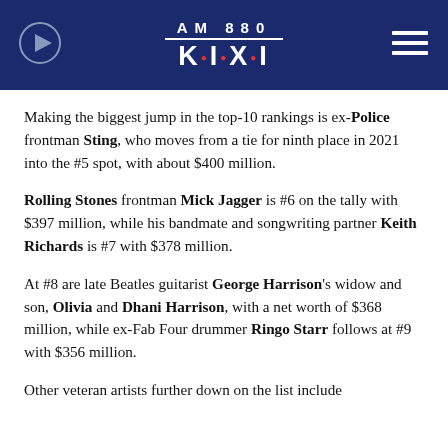AM 880 K·I·X·I
Making the biggest jump in the top-10 rankings is ex-Police frontman Sting, who moves from a tie for ninth place in 2021 into the #5 spot, with about $400 million.
Rolling Stones frontman Mick Jagger is #6 on the tally with $397 million, while his bandmate and songwriting partner Keith Richards is #7 with $378 million.
At #8 are late Beatles guitarist George Harrison's widow and son, Olivia and Dhani Harrison, with a net worth of $368 million, while ex-Fab Four drummer Ringo Starr follows at #9 with $356 million.
Other veteran artists further down on the list include